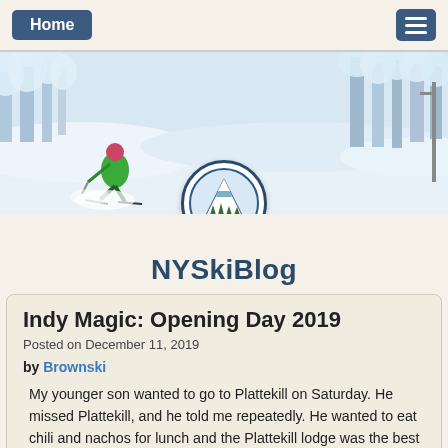Home | [menu]
[Figure (photo): Hero banner with skier in green jacket skiing through deep powder snow, snow-covered trees in background, NYSkiBlog logo circle centered at bottom]
NYSkiBlog
Indy Magic: Opening Day 2019
Posted on December 11, 2019
by Brownski
My younger son wanted to go to Plattekill on Saturday. He missed Plattekill, and he told me repeatedly. He wanted to eat chili and nachos for lunch and the Plattekill lodge was the best for playing hide and seek